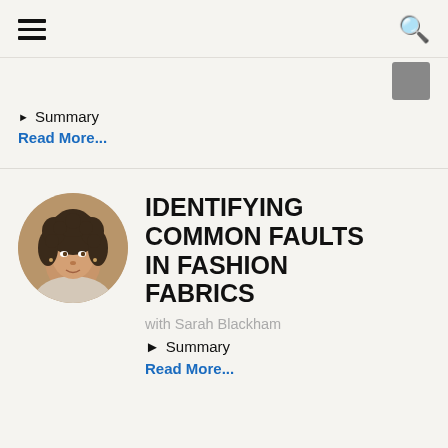≡  🔍
with Joanna Blein
▶ Summary
Read More...
[Figure (photo): Circular portrait photo of Sarah Blackham, a woman with curly dark hair]
IDENTIFYING COMMON FAULTS IN FASHION FABRICS
with Sarah Blackham
▶ Summary
Read More...